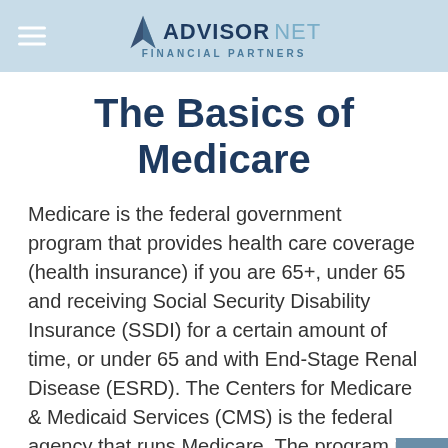ADVISOR NET FINANCIAL PARTNERS
The Basics of Medicare
Medicare is the federal government program that provides health care coverage (health insurance) if you are 65+, under 65 and receiving Social Security Disability Insurance (SSDI) for a certain amount of time, or under 65 and with End-Stage Renal Disease (ESRD). The Centers for Medicare & Medicaid Services (CMS) is the federal agency that runs Medicare. The program is funded in part